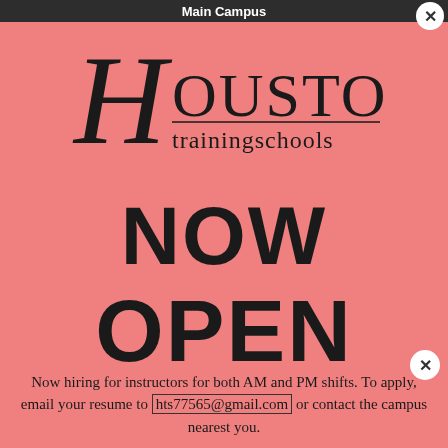Main Campus
[Figure (logo): Houston Training Schools logo with stylized script H and serif HOUSTON text with 'trainingschools' underneath]
NOW OPEN
Now hiring for instructors for both AM and PM shifts. To apply, email your resume to hts77565@gmail.com or contact the campus nearest you.